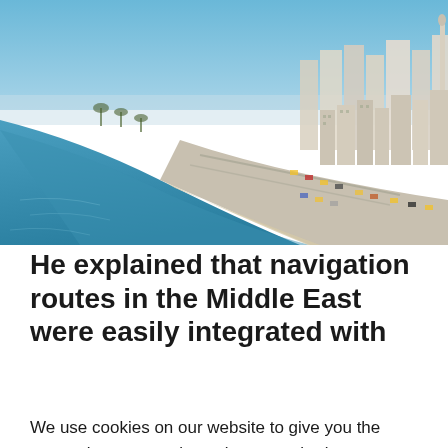[Figure (photo): Aerial/elevated view of a Middle Eastern coastal city (likely Alexandria, Egypt) showing a curved bay with a waterfront corniche road, dense urban buildings on the right, blue sea on the left, and a hazy sky.]
He explained that navigation routes in the Middle East were easily integrated with
We use cookies on our website to give you the most relevant experience by remembering your preferences and repeat visits. By clicking “Accept All”, you consent to the use of ALL the cookies. However, you may visit "Cookie Settings" to provide a controlled consent.